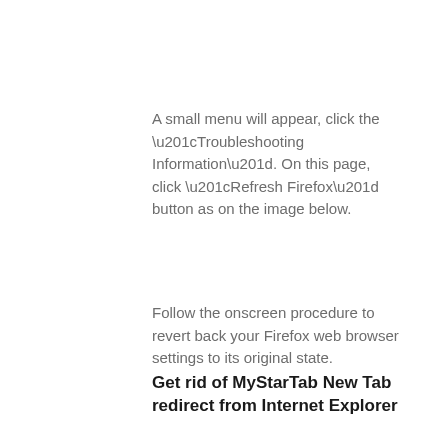A small menu will appear, click the “Troubleshooting Information”. On this page, click “Refresh Firefox” button as on the image below.
Follow the onscreen procedure to revert back your Firefox web browser settings to its original state.
Get rid of MyStarTab New Tab redirect from Internet Explorer